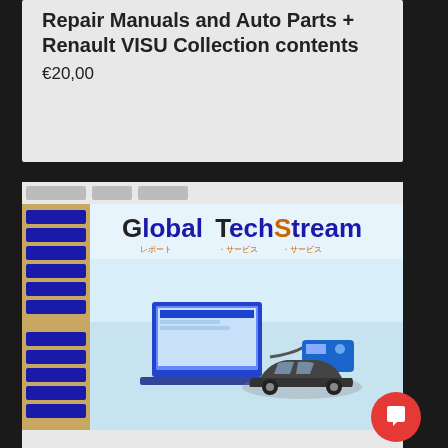Repair Manuals and Auto Parts + Renault VISU Collection contents
€20,00
[Figure (screenshot): Screenshot of Toyota Global TechStream software interface showing a laptop connected via OBD cable to a car, with the Global TechStream logo and Japanese navigation text]
Toyota/Lexus full package (Latest Techstream+Calibration files+Lexus Offline EWD+Online EWD TIS wiring diagrams and service repair manuals)
€30,00  €40,00
SALE
[Figure (screenshot): Partial screenshot of automotive diagnostic software showing a tablet device, a left sidebar with blue menu items, and a dialog form panel on the right]